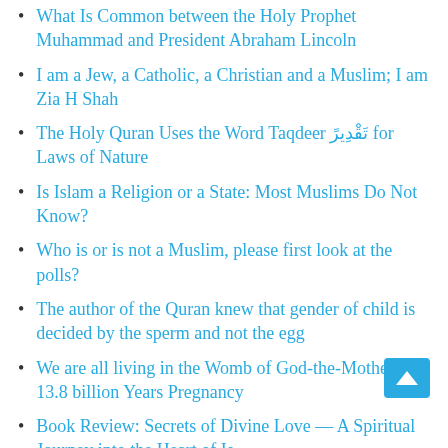What Is Common between the Holy Prophet Muhammad and President Abraham Lincoln
I am a Jew, a Catholic, a Christian and a Muslim; I am Zia H Shah
The Holy Quran Uses the Word Taqdeer تَقْدِيرً for Laws of Nature
Is Islam a Religion or a State: Most Muslims Do Not Know?
Who is or is not a Muslim, please first look at the polls?
The author of the Quran knew that gender of child is decided by the sperm and not the egg
We are all living in the Womb of God-the-Mother, 13.8 billion Years Pregnancy
Book Review: Secrets of Divine Love — A Spiritual Journey into the Heart of Islam